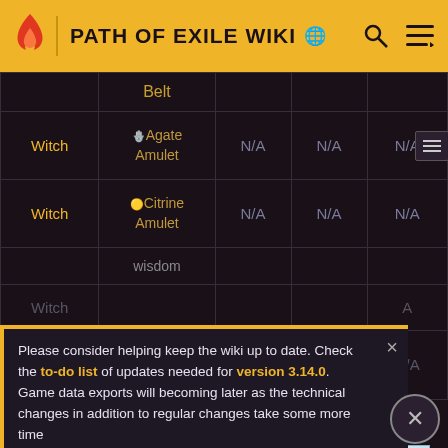PATH OF EXILE WIKI
| Class | Item |  |  |  |
| --- | --- | --- | --- | --- |
|  | Belt |  |  |  |
| Witch | Agate Amulet | N/A | N/A | N/A |
| Witch | Citrine Amulet | N/A | N/A | N/A |
|  | Wisdom |  |  |  |
| Witch |  |  |  |  |
| Shadow | Grand Life Flask | N/A | N/A | N/A |
Please consider helping keep the wiki up to date. Check the to-do list of updates needed for version 3.14.0. Game data exports will becoming later as the technical changes in addition to regular changes take some more time.
[Figure (screenshot): The Elder Scrolls Online advertisement banner: PLAY FREE event August 16-29, excludes Steam platform. © 2022 Bethesda Softworks LLC]